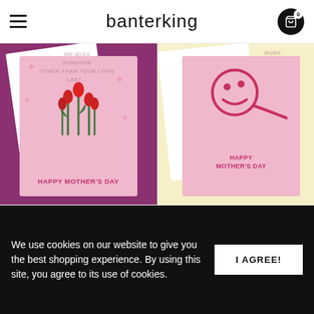banterking
[Figure (photo): Mother's Day greeting card with red tulips on pink background with purple backdrop — 'HAPPY MOTHERS DAY']
Who Would Have Thought… Mother's Day Card
£3.75 GBP
[Figure (photo): Mother's Day greeting card with smiley sperm face illustration on pink card, yellow backdrop — 'HAPPY MOTHERS DAY']
Mum Thank You For Not Swallowing Me Mother's Day Greeting Card
£3.75 GBP
We use cookies on our website to give you the best shopping experience. By using this site, you agree to its use of cookies.